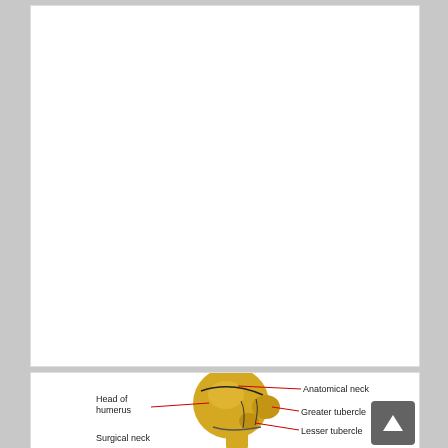[Figure (illustration): Blank white panel — upper portion of a medical document page, content not visible.]
[Figure (engineering-diagram): Anatomical diagram of the proximal humerus bone showing labeled structures: Head of humerus, Anatomical neck, Greater tubercle, Lesser tubercle, and Surgical neck (partially visible). Labels connected to bone landmarks with red lines. Bone rendered in gold/yellow color.]